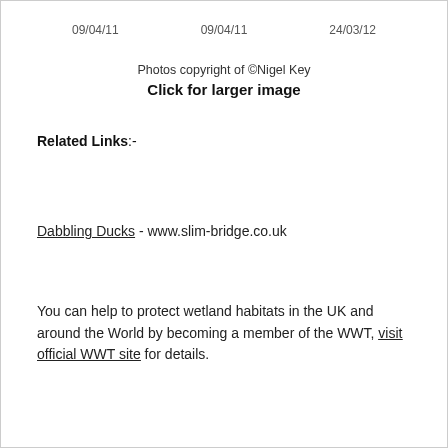09/04/11   09/04/11   24/03/12
Photos copyright of ©Nigel Key
Click for larger image
Related Links:-
Dabbling Ducks - www.slim-bridge.co.uk
You can help to protect wetland habitats in the UK and around the World by becoming a member of the WWT, visit official WWT site for details.